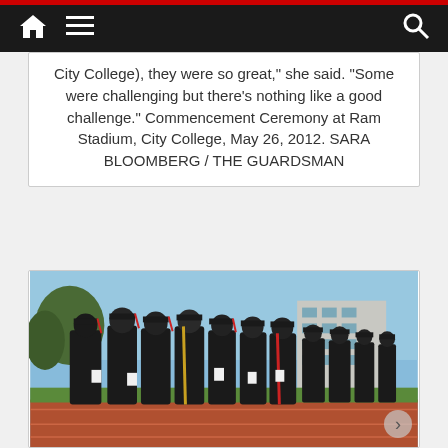Navigation bar with home, menu, and search icons
City College), they were so great," she said. "Some were challenging but there's nothing like a good challenge." Commencement Ceremony at Ram Stadium, City College, May 26, 2012. SARA BLOOMBERG / THE GUARDSMAN
[Figure (photo): Graduates in black caps and gowns standing in a line on a red track at Ram Stadium, City College, with a multi-story building visible in the background under a blue sky.]